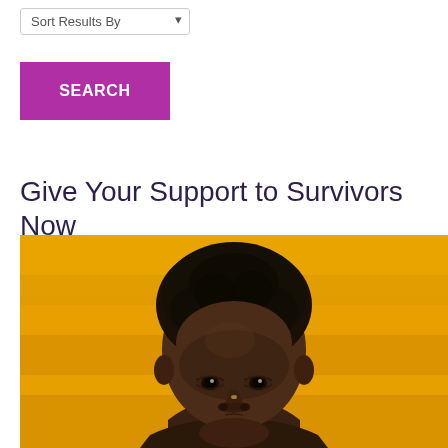Sort Results By
SEARCH
Give Your Support to Survivors Now
[Figure (photo): Close-up portrait of a young person with short natural hair against a bright yellow/orange background, looking directly at the camera]